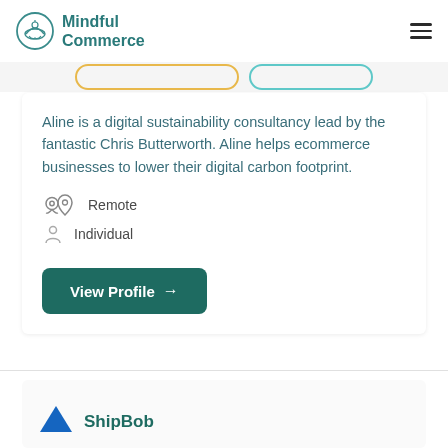Mindful Commerce
Aline is a digital sustainability consultancy lead by the fantastic Chris Butterworth. Aline helps ecommerce businesses to lower their digital carbon footprint.
Remote
Individual
View Profile →
ShipBob